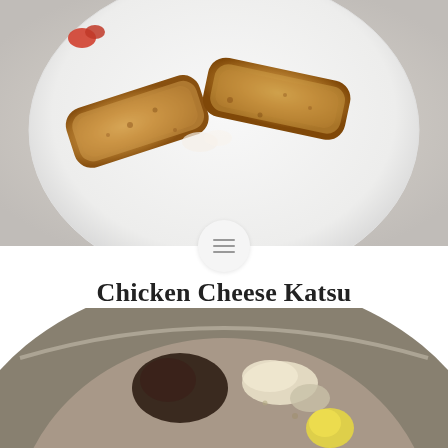[Figure (photo): Top-down photo of chicken cheese katsu pieces on a white plate, golden-brown crispy panko exterior, with a small red garnish]
Chicken Cheese Katsu
One of my favorite Japanese dishes (washoku), chicken-cheese katsu has a crispy fried panko exterior encasing a juicy chicken interior that's filled with rich, gooey cheese.
[Figure (photo): Bowl containing ingredients including dark sauce, mushrooms, and other components for chicken cheese katsu recipe]